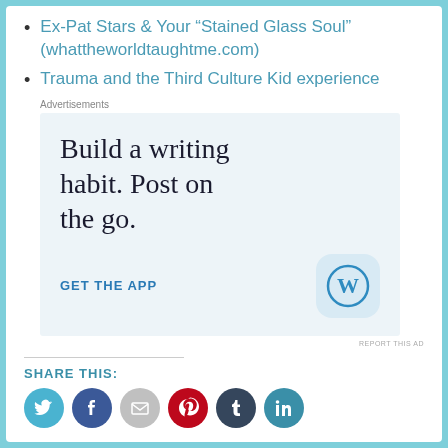Ex-Pat Stars & Your “Stained Glass Soul” (whattheworldtaughtme.com)
Trauma and the Third Culture Kid experience
[Figure (other): WordPress advertisement: 'Build a writing habit. Post on the go.' with GET THE APP call to action and WordPress logo]
REPORT THIS AD
SHARE THIS:
[Figure (other): Social sharing icons: Twitter (blue), Facebook (blue), Email (gray), Pinterest (red), Tumblr (dark teal), LinkedIn (teal)]